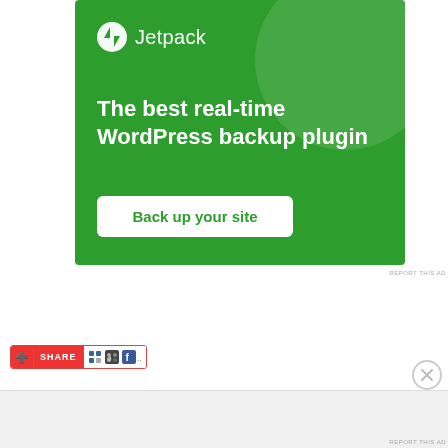[Figure (screenshot): Jetpack WordPress plugin advertisement banner with green background, Jetpack logo, headline text 'The best real-time WordPress backup plugin', and a white 'Back up your site' button.]
REPORT THIS AD
[Figure (screenshot): Social sharing bar with red SHARE button and social media icons (del.icio.us, Digg, Facebook)]
[Figure (screenshot): Close/dismiss button (X circle)]
Advertisements
REPORT THIS AD